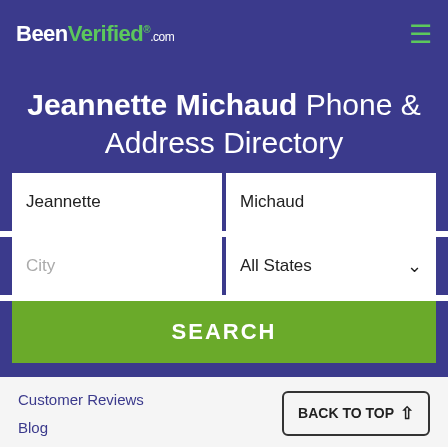BeenVerified.com
Jeannette Michaud Phone & Address Directory
Jeannette | Michaud
City | All States
SEARCH
Customer Reviews
Blog
BACK TO TOP ↑